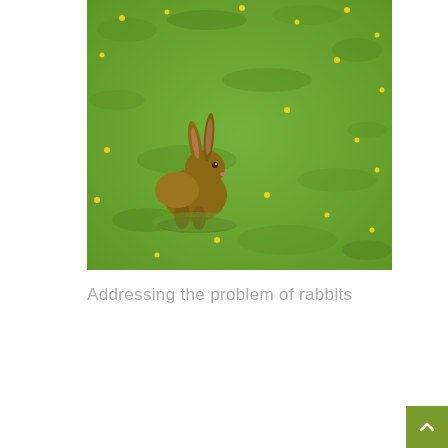[Figure (photo): A brown rabbit sitting on a green grass lawn with small yellow flowers scattered throughout. The rabbit is positioned in the lower-left area of the image, facing right.]
Addressing the problem of rabbits